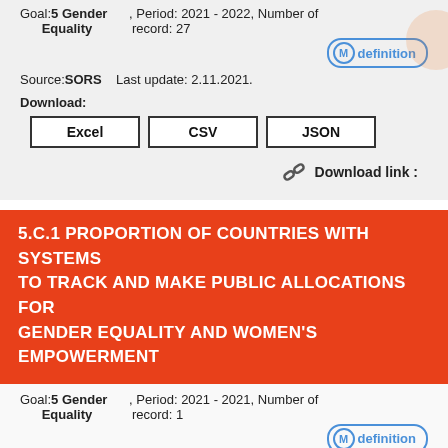Goal:5 Gender Equality , Period: 2021 - 2022, Number of record: 27
Mdefinition
Source:SORS   Last update: 2.11.2021.
Download:
Excel   CSV   JSON
Download link :
5.C.1 PROPORTION OF COUNTRIES WITH SYSTEMS TO TRACK AND MAKE PUBLIC ALLOCATIONS FOR GENDER EQUALITY AND WOMEN'S EMPOWERMENT
Goal:5 Gender Equality , Period: 2021 - 2021, Number of record: 1
Mdefinition
Source:UN Women, OECD and   Last update: